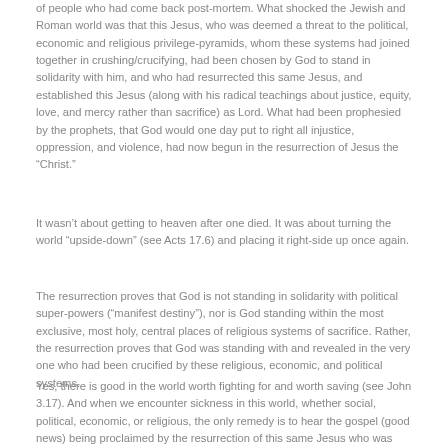of people who had come back post-mortem. What shocked the Jewish and Roman world was that this Jesus, who was deemed a threat to the political, economic and religious privilege-pyramids, whom these systems had joined together in crushing/crucifying, had been chosen by God to stand in solidarity with him, and who had resurrected this same Jesus, and established this Jesus (along with his radical teachings about justice, equity, love, and mercy rather than sacrifice) as Lord. What had been prophesied by the prophets, that God would one day put to right all injustice, oppression, and violence, had now begun in the resurrection of Jesus the “Christ.”
It wasn’t about getting to heaven after one died. It was about turning the world “upside-down” (see Acts 17.6) and placing it right-side up once again.
The resurrection proves that God is not standing in solidarity with political super-powers (“manifest destiny”), nor is God standing within the most exclusive, most holy, central places of religious systems of sacrifice. Rather, the resurrection proves that God was standing with and revealed in the very one who had been crucified by these religious, economic, and political systems.
Yes, there is good in the world worth fighting for and worth saving (see John 3.17). And when we encounter sickness in this world, whether social, political, economic, or religious, the only remedy is to hear the gospel (good news) being proclaimed by the resurrection of this same Jesus who was crucified by these sicknesses.